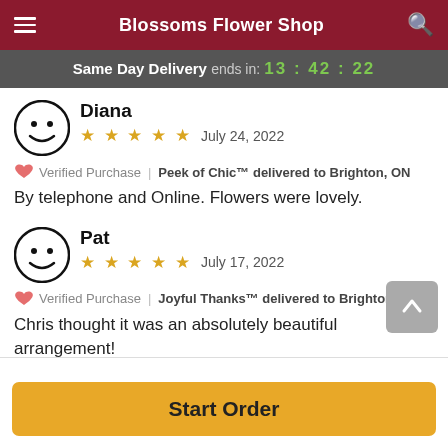Blossoms Flower Shop
Same Day Delivery ends in: 13:42:22
Diana
★★★★★  July 24, 2022
💖 Verified Purchase | Peek of Chic™ delivered to Brighton, ON
By telephone and Online. Flowers were lovely.
Pat
★★★★★  July 17, 2022
💖 Verified Purchase | Joyful Thanks™ delivered to Brighton, ON
Chris thought it was an absolutely beautiful arrangement!
Start Order